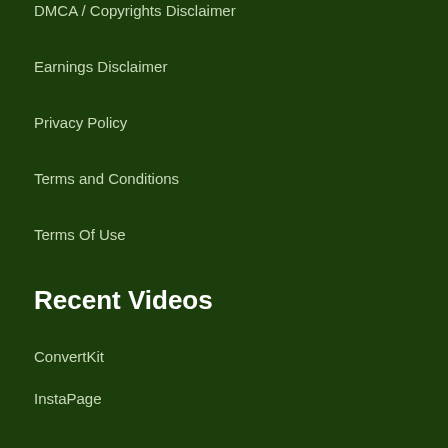DMCA / Copyrights Disclaimer
Earnings Disclaimer
Privacy Policy
Terms and Conditions
Terms Of Use
Recent Videos
ConvertKit
InstaPage
ClickMagick
Podia
SamCart